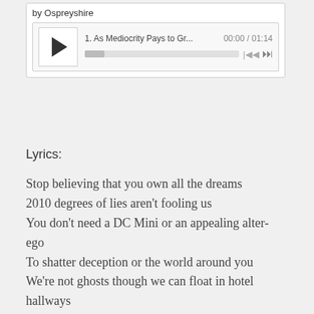[Figure (screenshot): Music player widget showing track '1. As Mediocrity Pays to Gr...' with timestamp 00:00 / 01:14, play button, progress bar, and skip controls. Labeled 'by Ospreyshire'.]
Lyrics:
Stop believing that you own all the dreams
2010 degrees of lies aren't fooling us
You don't need a DC Mini or an appealing alter-ego
To shatter deception or the world around you
We're not ghosts though we can float in hotel hallways
We made the spice to delve into dreams within dreams or converging reality
Years before you had a thought
The mass's perception is flawed
Because they see your take on caped crusaders
We'll keep the real dreams alive though our creator passed on